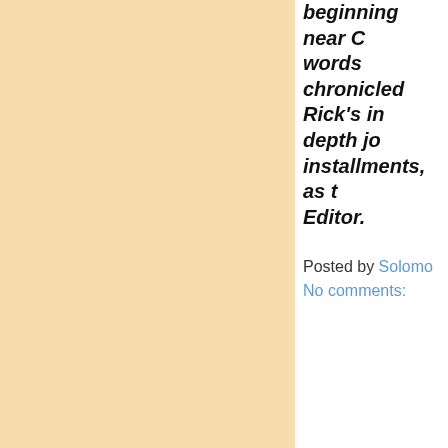beginning near C words chronicled Rick's in depth j installments, as Editor.
Posted by Solomon
No comments:
Newer Posts